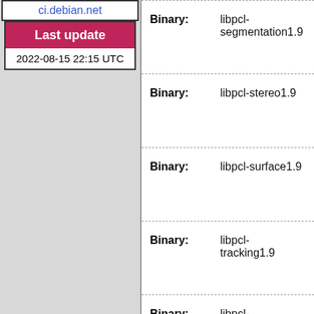ci.debian.net
Last update
2022-08-15 22:15 UTC
Binary: libpcl-segmentation1.9
Binary: libpcl-stereo1.9
Binary: libpcl-surface1.9
Binary: libpcl-tracking1.9
Binary: libpcl-visualization1.9
Binary: pcl-tools